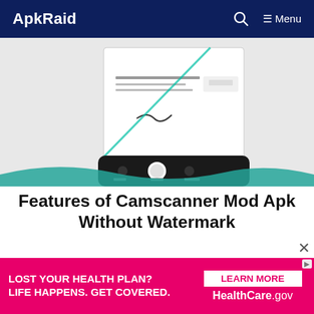ApkRaid  [search icon]  ≡ Menu
[Figure (screenshot): Screenshot of CamScanner app scanning a document, showing the phone camera interface with a document being scanned and a teal wave design at the bottom.]
Features of Camscanner Mod Apk Without Watermark
Scan Documents Easily, Quickly, and Accurately: Scan documents
[Figure (screenshot): Advertisement banner: 'LOST YOUR HEALTH PLAN? LIFE HAPPENS. GET COVERED.' with 'LEARN MORE HealthCare.gov' on the right side. Pink/magenta background.]